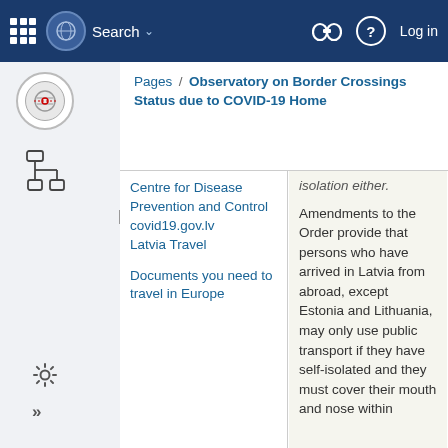Search | Log in | Observatory on Border Crossings Status due to COVID-19
Pages / Observatory on Border Crossings Status due to COVID-19 Home
Centre for Disease Prevention and Control covid19.gov.lv Latvia Travel
Documents you need to travel in Europe
isolation either.

Amendments to the Order provide that persons who have arrived in Latvia from abroad, except Estonia and Lithuania, may only use public transport if they have self-isolated and they must cover their mouth and nose within